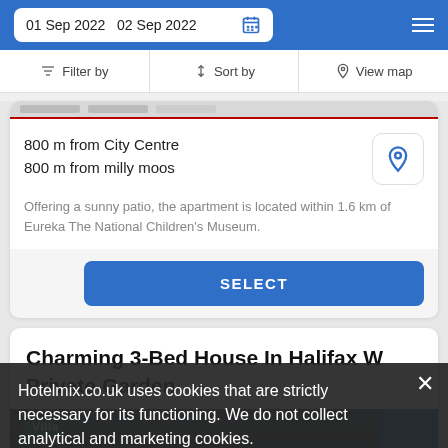01 Sep 2022  02 Sep 2022
Filter by  Sort by  View map
800 m from City Centre
800 m from milly moos
Offering a sunny patio, the apartment is located within 1.6 km of Eureka The National Children's Museum.
SELECT
Charming 3-Bed House In Halifax W Private Garden
Villa
Hotelmix.co.uk uses cookies that are strictly necessary for its functioning. We do not collect analytical and marketing cookies.